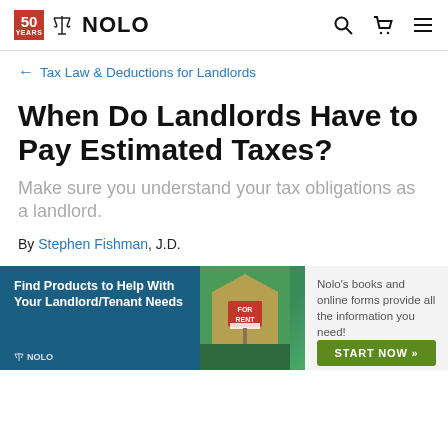NOLO — 50 Years
← Tax Law & Deductions for Landlords
When Do Landlords Have to Pay Estimated Taxes?
Make sure you understand your tax obligations as a landlord.
By Stephen Fishman, J.D.
[Figure (infographic): Ad banner: Find Products to Help With Your Landlord/Tenant Needs — Nolo's books and online forms provide all the information you need! START NOW »]